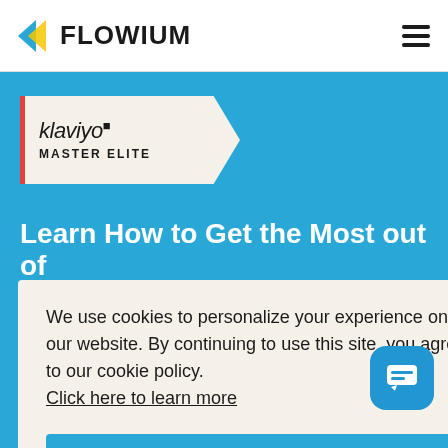FLOWIUM
[Figure (logo): Klaviyo Master Elite badge - ribbon shaped badge with red left border on cream background]
Learn How to Get the Most out of Klaviyo
We use cookies to personalize your experience on our website. By continuing to use this site, you agree to our cookie policy. Click here to learn more
OK
Results  FAQs